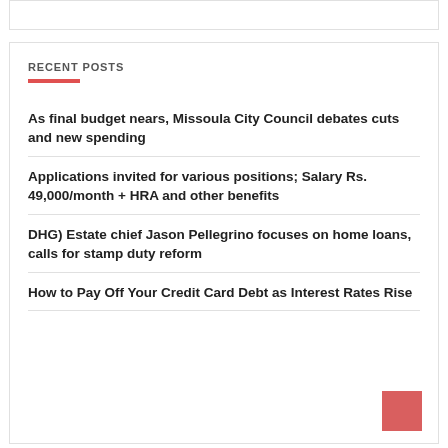RECENT POSTS
As final budget nears, Missoula City Council debates cuts and new spending
Applications invited for various positions; Salary Rs. 49,000/month + HRA and other benefits
DHG) Estate chief Jason Pellegrino focuses on home loans, calls for stamp duty reform
How to Pay Off Your Credit Card Debt as Interest Rates Rise